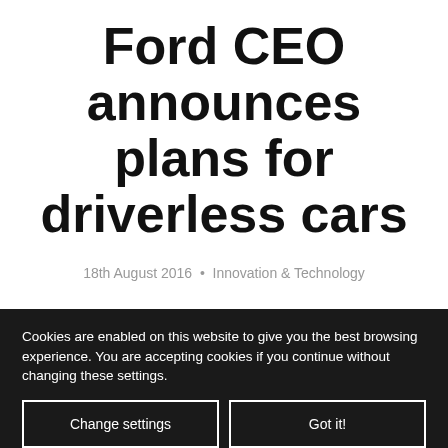Ford CEO announces plans for driverless cars
18th August 2016 • Innovation & Technology
President and Chief Executive Officer of Ford Motor Company, Mark Fields, has announced that the
Cookies are enabled on this website to give you the best browsing experience. You are accepting cookies if you continue without changing these settings.